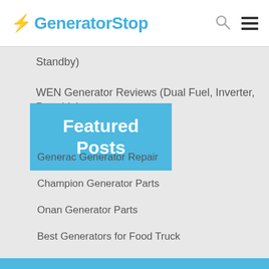GeneratorStop
Standby)
WEN Generator Reviews (Dual Fuel, Inverter, Portable)
Featured Posts
Generac Generator Repair
Champion Generator Parts
Onan Generator Parts
Best Generators for Food Truck
Best Generators for a DJ Setup